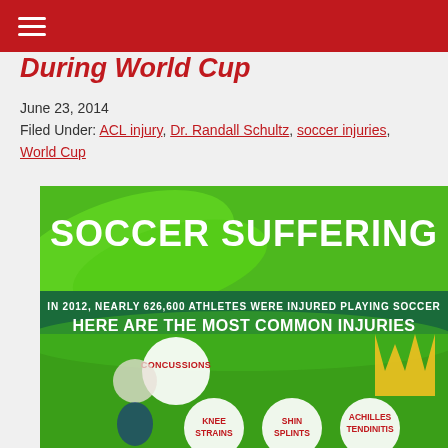≡ (navigation menu)
During World Cup
June 23, 2014
Filed Under: ACL injury, Dr. Randall Schultz, soccer injuries, World Cup
[Figure (infographic): Soccer Suffering infographic. States: In 2012, nearly 626,600 athletes were injured playing soccer. Here are the most common injuries. Shows bubbles for: Concussions, Knee Strains, Shin Splints, Achilles Tendinitis. Features a soccer player photo on a green background.]